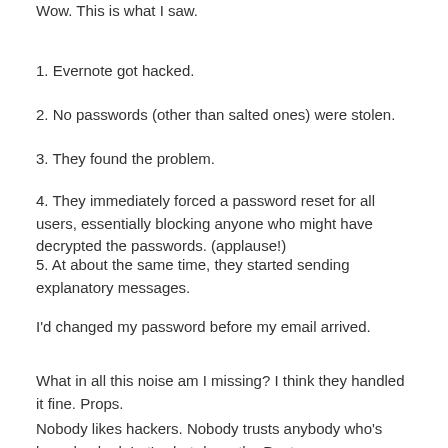Wow. This is what I saw.
1. Evernote got hacked.
2. No passwords (other than salted ones) were stolen.
3. They found the problem.
4. They immediately forced a password reset for all users, essentially blocking anyone who might have decrypted the passwords. (applause!)
5. At about the same time, they started sending explanatory messages.
I'd changed my password before my email arrived.
What in all this noise am I missing? I think they handled it fine. Props.
Nobody likes hackers. Nobody trusts anybody who's been hacked. Let's shut down the Pentagon.